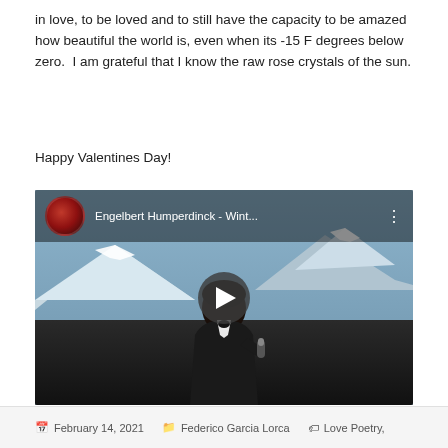in love, to be loved and to still have the capacity to be amazed how beautiful the world is, even when its -15 F degrees below zero.  I am grateful that I know the raw rose crystals of the sun.
Happy Valentines Day!
[Figure (screenshot): Embedded YouTube video thumbnail showing Engelbert Humperdinck - Wint... with a play button overlay. The video shows a man in a tuxedo against a snowy mountain backdrop.]
February 14, 2021   Federico Garcia Lorca   Love Poetry,